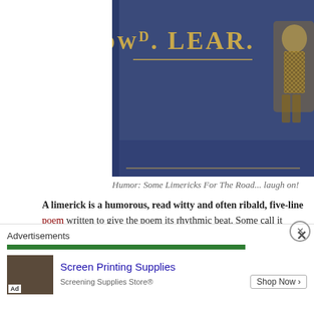[Figure (photo): Cover of a book by Edw. Lear, blue cover with gold lettering, partial view showing the name 'Edw. Lear' and a figure illustration on the right side.]
Humor: Some Limericks For The Road... laugh on!
A limerick is a humorous, read witty and often ribald, five-line poem written to give the poem its rhythmic beat. Some call it nonsense poetry, but like anything behavior, it does require insight and some wit to write one. We all need humor in great way to write what we see with a hilarious twist or read what others have wit best part is that they are quick and short with the punchline in the fifth/last line.
There once lived a little old Geezer
who told everyone he was Caesar
When March rolled around
Longinus and Brutus left town
[Figure (screenshot): Advertisement bar at the bottom showing 'Advertisements' header with close button X, a green progress bar, and an ad for 'Screen Printing Supplies' by Screening Supplies Store with Shop Now button and Ad badge.]